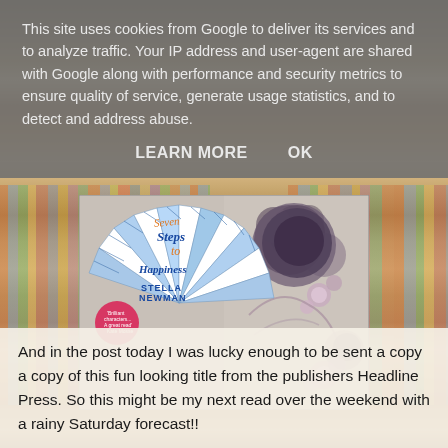This site uses cookies from Google to deliver its services and to analyze traffic. Your IP address and user-agent are shared with Google along with performance and security metrics to ensure quality of service, generate usage statistics, and to detect and address abuse.
LEARN MORE    OK
[Figure (photo): Book cover of 'Seven Steps to Happiness' by Stella Newman, displayed as a fan-shaped design with blue and white stripes, showing the title in orange and blue text. The book is photographed against a floral embroidered fabric background.]
And in the post today I was lucky enough to be sent a copy a copy of this fun looking title from the publishers Headline Press.  So this might be my next read over the weekend with a rainy Saturday forecast!!